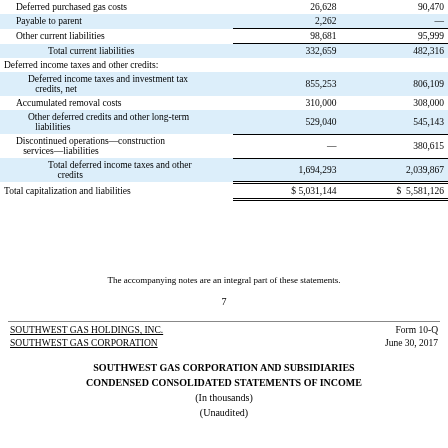|  | Col1 | Col2 |
| --- | --- | --- |
| Deferred purchased gas costs | 26,628 | 90,470 |
| Payable to parent | 2,262 | — |
| Other current liabilities | 98,681 | 95,999 |
| Total current liabilities | 332,659 | 482,316 |
| Deferred income taxes and other credits: |  |  |
| Deferred income taxes and investment tax credits, net | 855,253 | 806,109 |
| Accumulated removal costs | 310,000 | 308,000 |
| Other deferred credits and other long-term liabilities | 529,040 | 545,143 |
| Discontinued operations—construction services—liabilities | — | 380,615 |
| Total deferred income taxes and other credits | 1,694,293 | 2,039,867 |
| Total capitalization and liabilities | $ 5,031,144 | $ 5,581,126 |
The accompanying notes are an integral part of these statements.
7
SOUTHWEST GAS HOLDINGS, INC. SOUTHWEST GAS CORPORATION   Form 10-Q June 30, 2017
SOUTHWEST GAS CORPORATION AND SUBSIDIARIES CONDENSED CONSOLIDATED STATEMENTS OF INCOME (In thousands) (Unaudited)